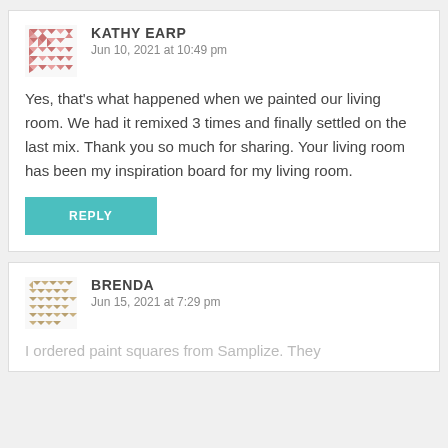KATHY EARP
Jun 10, 2021 at 10:49 pm
Yes, that's what happened when we painted our living room. We had it remixed 3 times and finally settled on the last mix. Thank you so much for sharing. Your living room has been my inspiration board for my living room.
REPLY
BRENDA
Jun 15, 2021 at 7:29 pm
I ordered paint squares from Samplize. They